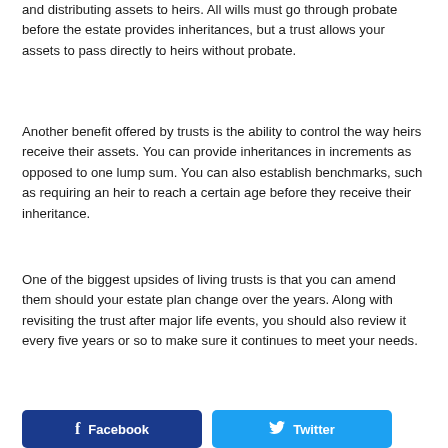and distributing assets to heirs. All wills must go through probate before the estate provides inheritances, but a trust allows your assets to pass directly to heirs without probate.
Another benefit offered by trusts is the ability to control the way heirs receive their assets. You can provide inheritances in increments as opposed to one lump sum. You can also establish benchmarks, such as requiring an heir to reach a certain age before they receive their inheritance.
One of the biggest upsides of living trusts is that you can amend them should your estate plan change over the years. Along with revisiting the trust after major life events, you should also review it every five years or so to make sure it continues to meet your needs.
[Figure (other): Social share buttons: Facebook (dark blue) and Twitter (light blue)]